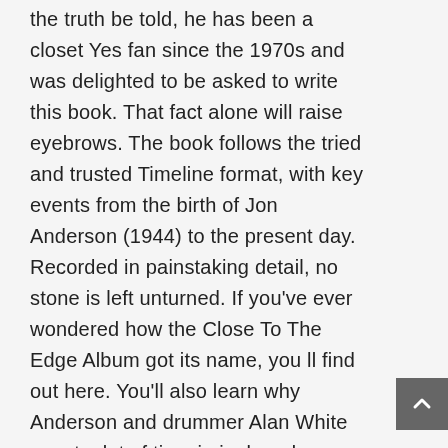the truth be told, he has been a closet Yes fan since the 1970s and was delighted to be asked to write this book. That fact alone will raise eyebrows. The book follows the tried and trusted Timeline format, with key events from the birth of Jon Anderson (1944) to the present day. Recorded in painstaking detail, no stone is left unturned. If you've ever wondered how the Close To The Edge Album got its name, you ll find out here. You'll also learn why Anderson and drummer Alan White spent a lot of time in junkyards.
Popoff secured interviews with Anderson, Bruford, Howe, Wakeman and the late Chris Squire (in one of the last interviews he gave) along with other actors in the drama. He also got the views of contemporaries such as Steve Hackett (Genesis), Bill Ward (Black Sabbath) and John Wetton (King Crimson, Asia et al) to provide a rounded...